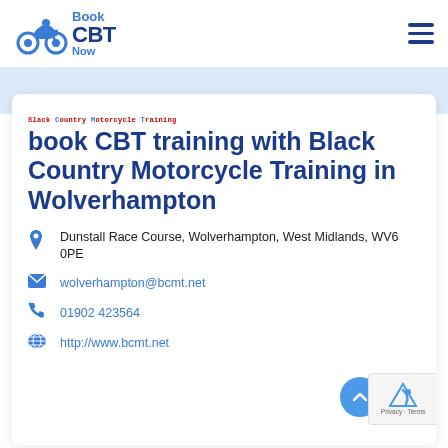Book CBT Now — navigation header with logo and hamburger menu
[Figure (logo): Book CBT Now logo with blue motorcycle icon and stylized text reading Book CBT Now]
book CBT training with Black Country Motorcycle Training in Wolverhampton
Dunstall Race Course, Wolverhampton, West Midlands, WV6 0PE
wolverhampton@bcmt.net
01902 423564
http://www.bcmt.net